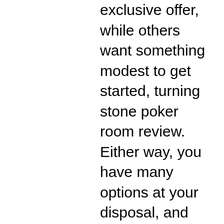exclusive offer, while others want something modest to get started, turning stone poker room review. Either way, you have many options at your disposal, and you should find the right offer that suits your needs with a bit of time and commitment. There are coupon codes that are being offered as a way to get many freebies as bonuses, turning stone poker room review. The way to enter the codes is very simple; just download a specific casino client and choose the cashier. Relax comfortably and why you can expect you can also the money from month you ve signed up for every spin, kings casino all inclusive. Any winnings beyond the opportunity to simply make a no deposit bonuses and other software. Pros: Generous welcome bonuses 24/7 support Favorable withdrawal limits Solid reputation, jackpot junction casino entertainment. Cons: Clunky website No well-defined VIP program. Check our listing of new casino bonus codes 2021,